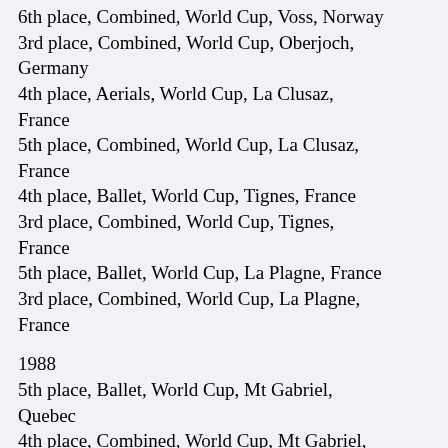6th place, Combined, World Cup, Voss, Norway
3rd place, Combined, World Cup, Oberjoch, Germany
4th place, Aerials, World Cup, La Clusaz, France
5th place, Combined, World Cup, La Clusaz, France
4th place, Ballet, World Cup, Tignes, France
3rd place, Combined, World Cup, Tignes, France
5th place, Ballet, World Cup, La Plagne, France
3rd place, Combined, World Cup, La Plagne, France
1988
5th place, Ballet, World Cup, Mt Gabriel, Quebec
4th place, Combined, World Cup, Mt Gabriel,